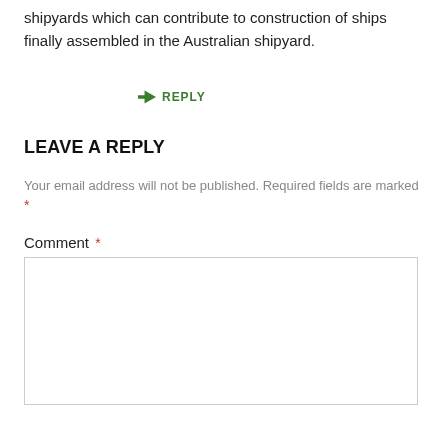shipyards which can contribute to construction of ships finally assembled in the Australian shipyard.
➜ REPLY
LEAVE A REPLY
Your email address will not be published. Required fields are marked *
Comment *